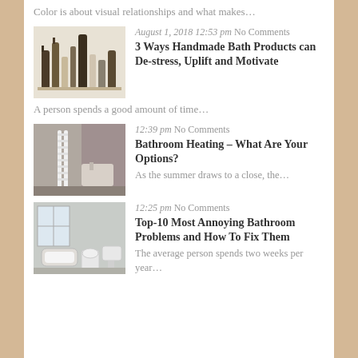Color is about visual relationships and what makes…
[Figure (photo): Several bottles of handmade bath products arranged on a shelf]
August 1, 2018 12:53 pm No Comments
3 Ways Handmade Bath Products can De-stress, Uplift and Motivate
A person spends a good amount of time…
[Figure (photo): White heated towel rail/radiator in a bathroom with sink]
12:39 pm No Comments
Bathroom Heating – What Are Your Options?
As the summer draws to a close, the…
[Figure (photo): Classic white bathroom interior with bathtub, toilet and pedestal sinks near a window]
12:25 pm No Comments
Top-10 Most Annoying Bathroom Problems and How To Fix Them
The average person spends two weeks per year…